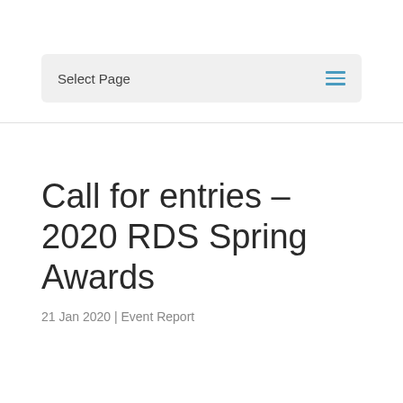Select Page
Call for entries – 2020 RDS Spring Awards
21 Jan 2020 | Event Report